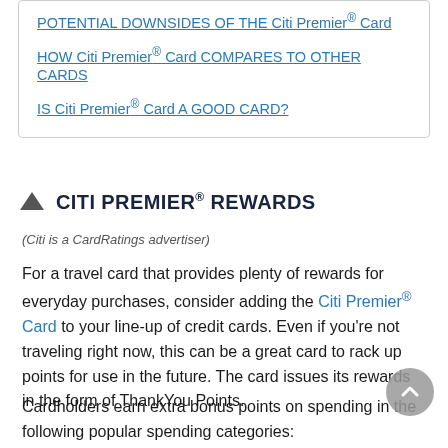POTENTIAL DOWNSIDES OF THE Citi Premier® Card
HOW Citi Premier® Card COMPARES TO OTHER CARDS
IS Citi Premier® Card A GOOD CARD?
CITI PREMIER® REWARDS
(Citi is a CardRatings advertiser)
For a travel card that provides plenty of rewards for everyday purchases, consider adding the Citi Premier® Card to your line-up of credit cards. Even if you're not traveling right now, this can be a great card to rack up points for use in the future. The card issues its rewards in the form of ThankYou Points.
Cardholders earn extra bonus points on spending in the following popular spending categories: